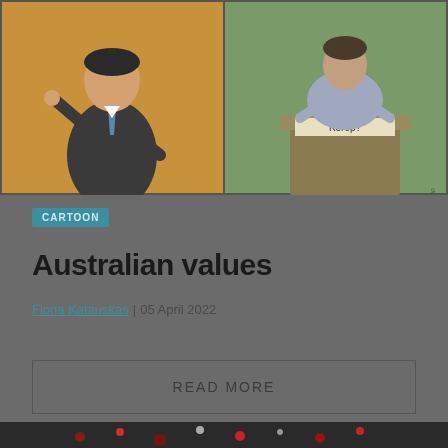[Figure (illustration): A two-panel cartoon illustration. Left panel shows a man in a dark suit gesturing, against an orange/brown background. Right panel shows a person at a podium/lectern with a sign reading 'Kerop?' against a green background. Artist signature visible bottom right.]
CARTOON
Australian values
Fiona Katauskas | 05 April 2022
READ MORE
[Figure (photo): Partial view of a dark photograph showing what appears to be a garden or floral scene with dark tones, red and white flowers visible.]